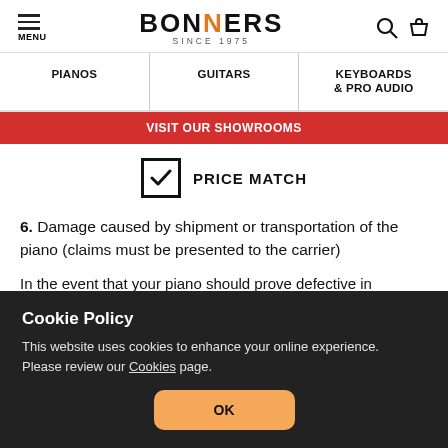BONNERS SINCE 1975 — MENU | PIANOS | GUITARS | KEYBOARDS & PRO AUDIO
VISIT OUR SHOWROOMS
[Figure (infographic): Checkbox with checkmark icon next to PRICE MATCH text]
6. Damage caused by shipment or transportation of the piano (claims must be presented to the carrier)
In the event that your piano should prove defective in workmanship or materials, your remedy will be the repair as
Cookie Policy
This website uses cookies to enhance your online experience. Please review our Cookies page.
OK